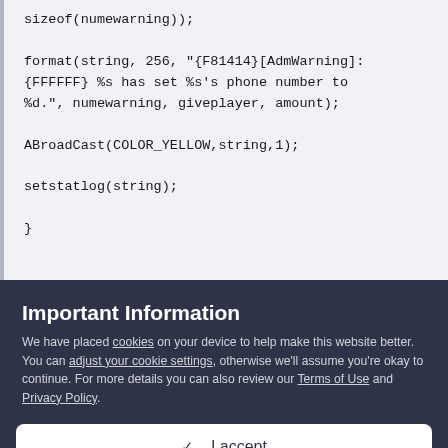sizeof(numewarning));

format(string, 256, "{F81414}[AdmWarning]:
{FFFFFF} %s has set %s's phone number to
%d.", numewarning, giveplayer, amount);

ABroadCast(COLOR_YELLOW,string,1);

setstatlog(string);

}
Important Information
We have placed cookies on your device to help make this website better. You can adjust your cookie settings, otherwise we'll assume you're okay to continue. For more details you can also review our Terms of Use and Privacy Policy.
✓  I accept